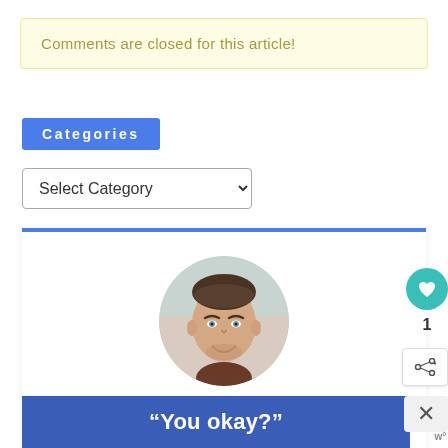Comments are closed for this article!
Categories
Select Category
[Figure (photo): Circular portrait photo of a smiling man with short brown hair, light scruff beard, light blue eyes, wearing a dark shirt. Background is blurred outdoor scene.]
“You okay?”